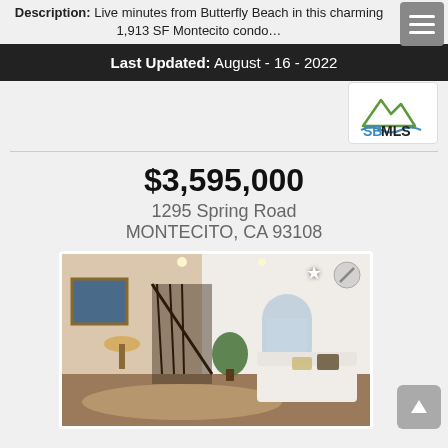Description: Live minutes from Butterfly Beach in this charming 1,913 SF Montecito condo…
Last Updated: August - 16 - 2022
[Figure (logo): SBMLS logo with mountain/wave graphic and green/blue text]
$3,595,000
1295 Spring Road
MONTECITO, CA 93108
[Figure (photo): Interior photo of a luxury home showing a staircase with iron railings, white walls, arched doorway, living room with white sofa, and decorative plants]